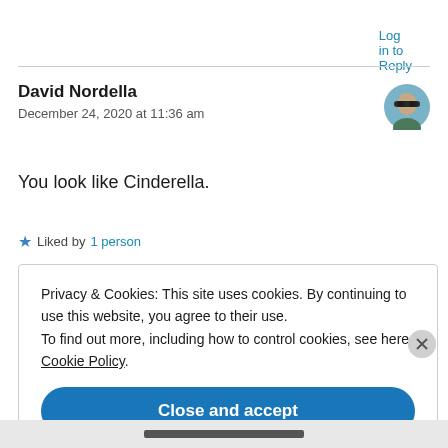Log in to Reply
David Nordella
December 24, 2020 at 11:36 am
You look like Cinderella.
★ Liked by 1 person
Privacy & Cookies: This site uses cookies. By continuing to use this website, you agree to their use.
To find out more, including how to control cookies, see here: Cookie Policy
Close and accept